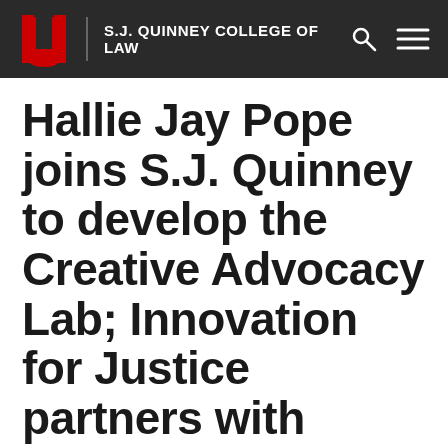S.J. QUINNEY COLLEGE OF LAW
Hallie Jay Pope joins S.J. Quinney to develop the Creative Advocacy Lab; Innovation for Justice partners with David Eccles School of Business.